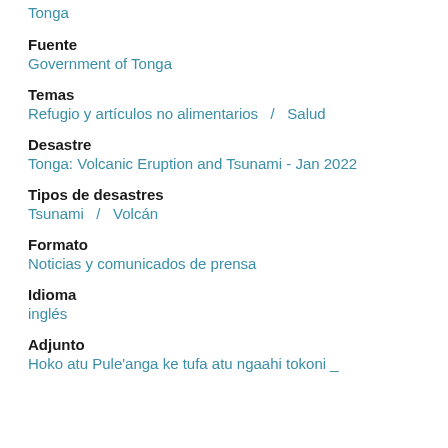Tonga
Fuente
Government of Tonga
Temas
Refugio y artículos no alimentarios  /  Salud
Desastre
Tonga: Volcanic Eruption and Tsunami - Jan 2022
Tipos de desastres
Tsunami  /  Volcán
Formato
Noticias y comunicados de prensa
Idioma
inglés
Adjunto
Hoko atu Pule'anga ke tufa atu ngaahi tokoni _